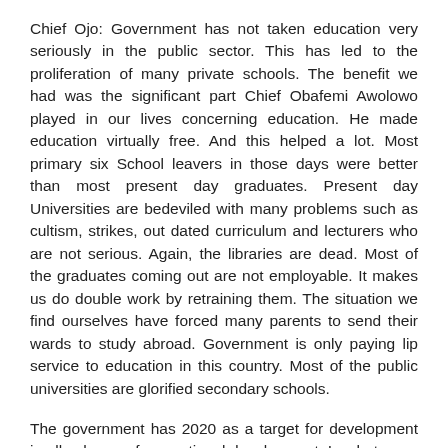Chief Ojo: Government has not taken education very seriously in the public sector. This has led to the proliferation of many private schools. The benefit we had was the significant part Chief Obafemi Awolowo played in our lives concerning education. He made education virtually free. And this helped a lot. Most primary six School leavers in those days were better than most present day graduates. Present day Universities are bedeviled with many problems such as cultism, strikes, out dated curriculum and lecturers who are not serious. Again, the libraries are dead. Most of the graduates coming out are not employable. It makes us do double work by retraining them. The situation we find ourselves have forced many parents to send their wards to study abroad. Government is only paying lip service to education in this country. Most of the public universities are glorified secondary schools.
The government has 2020 as a target for development in all spheres of our national development. In what ways can your T.V. Programmes contribute to the present dispensation.
TV stations are supposed to bring changes into our society socially